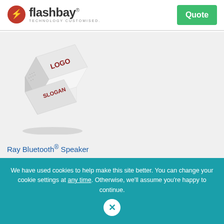flashbay® TECHNOLOGY CUSTOMISED.
[Figure (photo): White cube-shaped Bluetooth speaker with 'LOGO' and 'SLOGAN' printed on its faces in dark red text]
Ray Bluetooth® Speaker
We have used cookies to help make this site better. You can change your cookie settings at any time. Otherwise, we'll assume you're happy to continue.